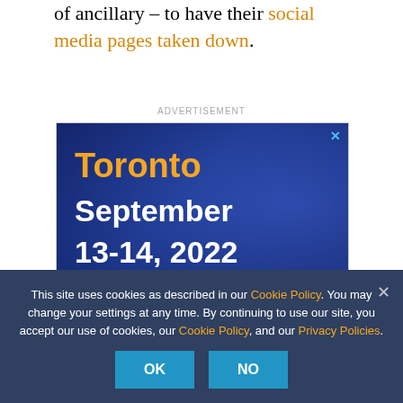or ancillary – to have their social media pages taken down.
ADVERTISEMENT
[Figure (infographic): Advertisement banner for a Toronto event: 'Toronto September 13-14, 2022' on a blue background with crowd silhouette and an orange 'Toronto' heading and white date text. Includes a close (X) button and an orange action button at bottom right.]
This site uses cookies as described in our Cookie Policy. You may change your settings at any time. By continuing to use our site, you accept our use of cookies, our Cookie Policy, and our Privacy Policies.